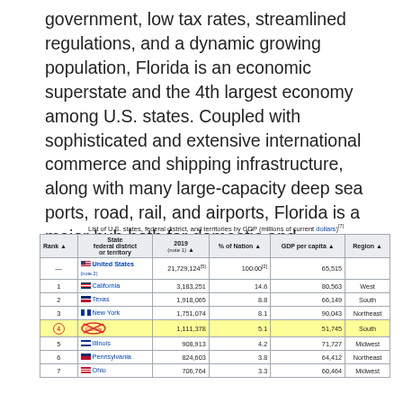government, low tax rates, streamlined regulations, and a dynamic growing population, Florida is an economic superstate and the 4th largest economy among U.S. states. Coupled with sophisticated and extensive international commerce and shipping infrastructure, along with many large-capacity deep sea ports, road, rail, and airports, Florida is a major hub both for domestic and international transportation.
List of U.S. states, federal district, and territories by GDP (millions of current dollars)[7]
| Rank | State federal district or territory | 2019 (note 1) | % of Nation | GDP per capita | Region |
| --- | --- | --- | --- | --- | --- |
| — | United States (note 2) | 21,729,124[5] | 100.00[2] | 65,515 |  |
| 1 | California | 3,183,251 | 14.6 | 80,563 | West |
| 2 | Texas | 1,918,065 | 8.8 | 66,149 | South |
| 3 | New York | 1,751,074 | 8.1 | 90,043 | Northeast |
| 4 | Florida | 1,111,378 | 5.1 | 51,745 | South |
| 5 | Illinois | 908,913 | 4.2 | 71,727 | Midwest |
| 6 | Pennsylvania | 824,603 | 3.8 | 64,412 | Northeast |
| 7 | Ohio | 706,764 | 3.3 | 60,464 | Midwest |